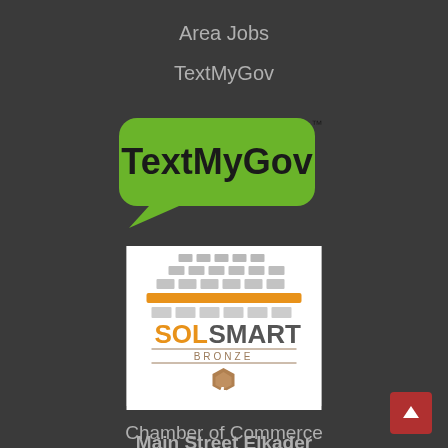Area Jobs
TextMyGov
[Figure (logo): TextMyGov logo — green speech bubble with black bold text 'TextMyGov' and small trademark symbol]
[Figure (logo): SolSmart Bronze logo — solar panel grid icon above orange/grey 'SOLSMART' text with 'BRONZE' below and a bronze hexagon badge]
Departments
Chamber of Commerce
Main Street Elkader